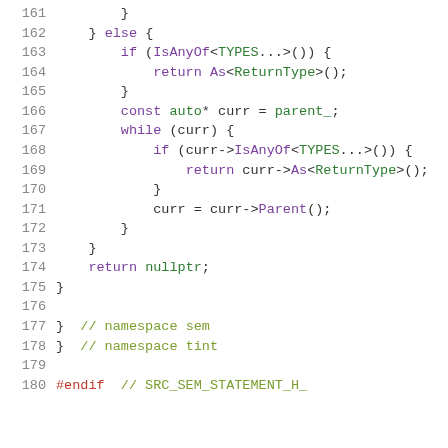Code listing lines 161-180, C++ source code showing namespace sem/tint with IsAnyOf template method, while loop traversal, and #endif preprocessor directive.